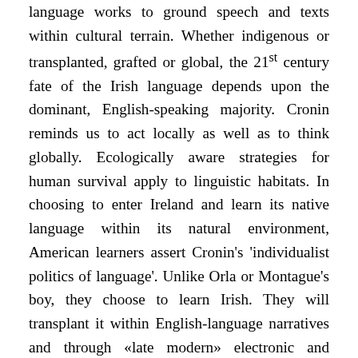language works to ground speech and texts within cultural terrain. Whether indigenous or transplanted, grafted or global, the 21st century fate of the Irish language depends upon the dominant, English-speaking majority. Cronin reminds us to act locally as well as to think globally. Ecologically aware strategies for human survival apply to linguistic habitats. In choosing to enter Ireland and learn its native language within its natural environment, American learners assert Cronin's 'individualist politics of language'. Unlike Orla or Montague's boy, they choose to learn Irish. They will transplant it within English-language narratives and through «late modern» electronic and textual networks that tie those who speak and learn Irish: whether from birth, in school, or as second-language adult students. Making the case for Irish through English, its advocates study the language within its natural setting. They also remind